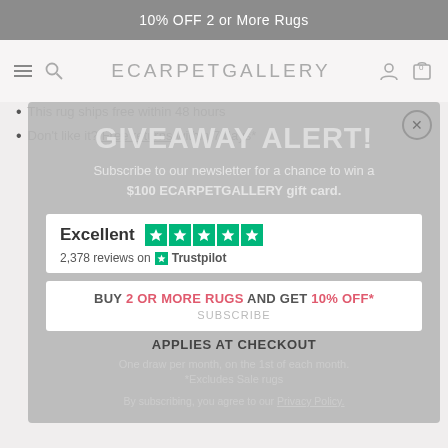10% OFF 2 or More Rugs
[Figure (screenshot): ECARPETGALLERY navigation bar with hamburger menu, search icon, logo, user icon and cart icon]
This rug ships free within 48 hours
Don't like it? Free returns within 7 days*
GIVEAWAY ALERT!
Subscribe to our newsletter for a chance to win a $100 ECARPETGALLERY gift card.
Excellent  ★★★★★
2,378 reviews on ★ Trustpilot
BUY 2 OR MORE RUGS AND GET 10% OFF*
SUBSCRIBE
APPLIES AT CHECKOUT
One draw per month, on the 1st of each month.
*Excludes Sale rugs
By subscribing, you agree to our Privacy Policy.